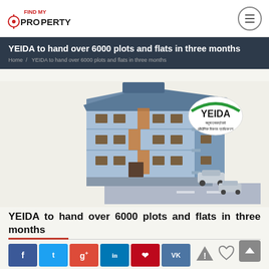Find My Property — navigation bar with logo and hamburger menu
YEIDA to hand over 6000 plots and flats in three months
Home / YEIDA to hand over 6000 plots and flats in three months
[Figure (illustration): 3D illustration of a multi-storey residential apartment building with YEIDA logo badge, exterior staircases, balconies, and cars parked on the road below]
YEIDA to hand over 6000 plots and flats in three months
Social share buttons: Facebook, Twitter, Google+, LinkedIn, Pinterest, VK